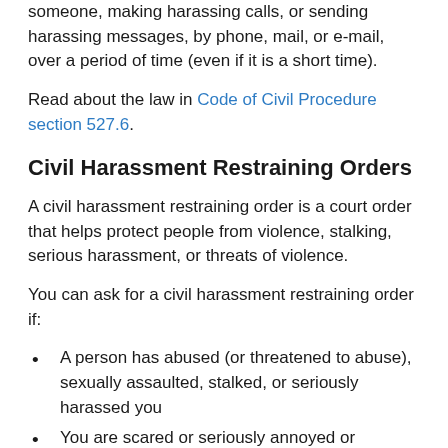someone, making harassing calls, or sending harassing messages, by phone, mail, or e-mail, over a period of time (even if it is a short time).
Read about the law in Code of Civil Procedure section 527.6.
Civil Harassment Restraining Orders
A civil harassment restraining order is a court order that helps protect people from violence, stalking, serious harassment, or threats of violence.
You can ask for a civil harassment restraining order if:
A person has abused (or threatened to abuse), sexually assaulted, stalked, or seriously harassed you
You are scared or seriously annoyed or harassed
Also, the person you want to restrain CANNOT be: